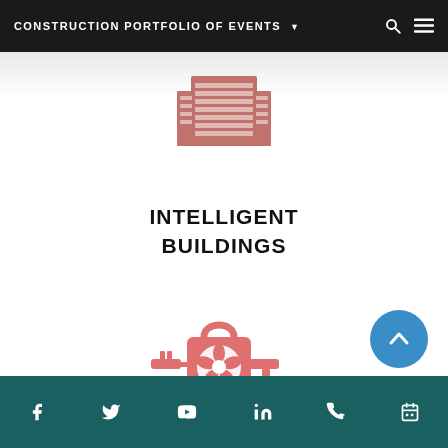CONSTRUCTION PORTFOLIO OF EVENTS
[Figure (illustration): Pink/salmon colored building/skyscraper icon with grid windows]
INTELLIGENT BUILDINGS
[Figure (illustration): Pink/salmon colored HVAC/mechanical system icon showing a fan/compressor unit with electrical plug and water drip]
Social media and contact icons: Facebook, Twitter, YouTube, LinkedIn, Phone, Calendar